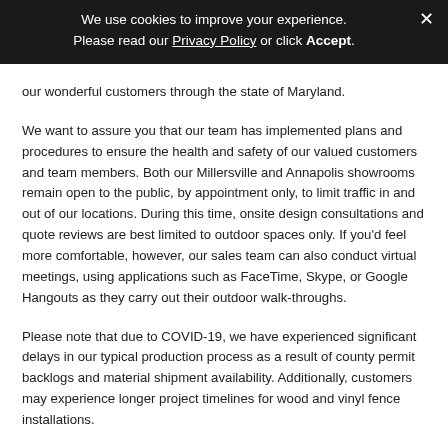We use cookies to improve your experience. Please read our Privacy Policy or click Accept.
our wonderful customers through the state of Maryland.
We want to assure you that our team has implemented plans and procedures to ensure the health and safety of our valued customers and team members. Both our Millersville and Annapolis showrooms remain open to the public, by appointment only, to limit traffic in and out of our locations. During this time, onsite design consultations and quote reviews are best limited to outdoor spaces only. If you'd feel more comfortable, however, our sales team can also conduct virtual meetings, using applications such as FaceTime, Skype, or Google Hangouts as they carry out their outdoor walk-throughs.
Please note that due to COVID-19, we have experienced significant delays in our typical production process as a result of county permit backlogs and material shipment availability. Additionally, customers may experience longer project timelines for wood and vinyl fence installations.
We want to assure you that we are continuously addressing these unique circumstances and we will do everything we can to restock and complete your project as quickly as possible. Our team will communicate any changes or delays concerning your project timeline